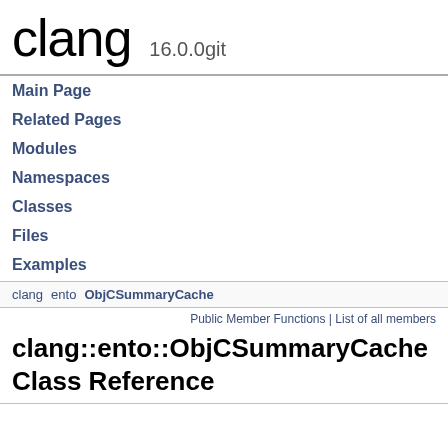clang 16.0.0git
Main Page
Related Pages
Modules
Namespaces
Classes
Files
Examples
clang  ento  ObjCSummaryCache
Public Member Functions | List of all members
clang::ento::ObjCSummaryCache Class Reference